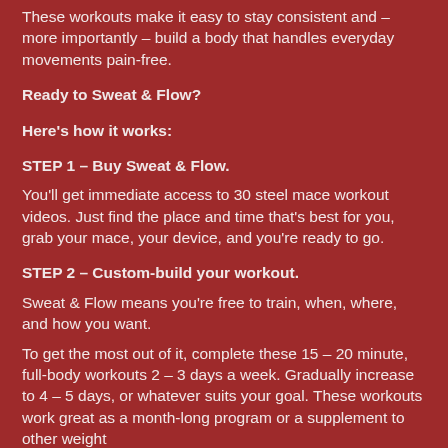These workouts make it easy to stay consistent and – more importantly – build a body that handles everyday movements pain-free.
Ready to Sweat & Flow?
Here's how it works:
STEP 1 – Buy Sweat & Flow.
You'll get immediate access to 30 steel mace workout videos. Just find the place and time that's best for you, grab your mace, your device, and you're ready to go.
STEP 2 – Custom-build your workout.
Sweat & Flow means you're free to train, when, where, and how you want.
To get the most out of it, complete these 15 – 20 minute, full-body workouts 2 – 3 days a week. Gradually increase to 4 – 5 days, or whatever suits your goal. These workouts work great as a month-long program or a supplement to other weight